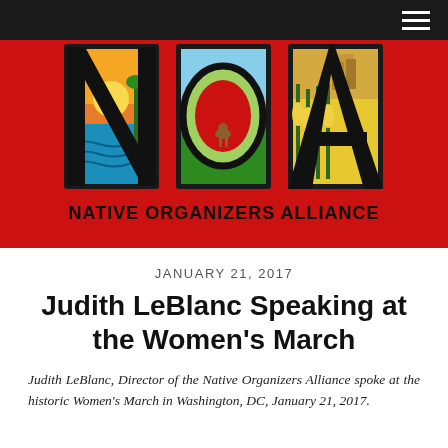[Figure (logo): Native Organizers Alliance (NOA) logo — large stylized letters N, O, A filled with colorful Native American landscape imagery including trees, mountains, water, deer, corn, and buildings on a red background]
JANUARY 21, 2017
Judith LeBlanc Speaking at the Women's March
Judith LeBlanc, Director of the Native Organizers Alliance spoke at the historic Women's March in Washington, DC, January 21, 2017.